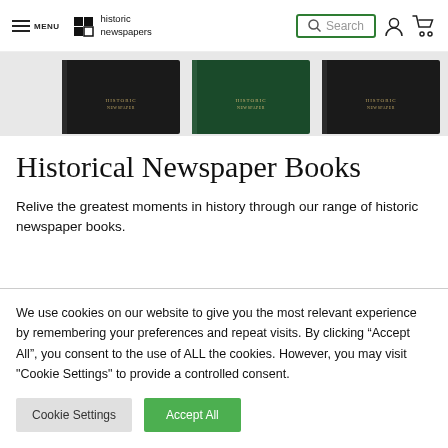MENU | historic newspapers | Search
[Figure (photo): Three hardcover newspaper books displayed: two black and one dark green, shown from a slight angle on a light background.]
Historical Newspaper Books
Relive the greatest moments in history through our range of historic newspaper books.
We use cookies on our website to give you the most relevant experience by remembering your preferences and repeat visits. By clicking “Accept All”, you consent to the use of ALL the cookies. However, you may visit "Cookie Settings" to provide a controlled consent.
Cookie Settings
Accept All